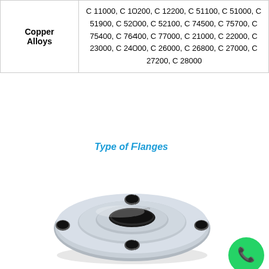| Material | Grades |
| --- | --- |
| Copper Alloys | C 11000, C 10200, C 12200, C 51100, C 51000, C 51900, C 52000, C 52100, C 74500, C 75700, C 75400, C 76400, C 77000, C 21000, C 22000, C 23000, C 24000, C 26000, C 26800, C 27000, C 27200, C 28000 |
Type of Flanges
[Figure (photo): A stainless steel flange with four bolt holes, viewed from a slight angle, showing the flat face and bore. Appears to be a slip-on or weld-neck type flange, metallic silver finish.]